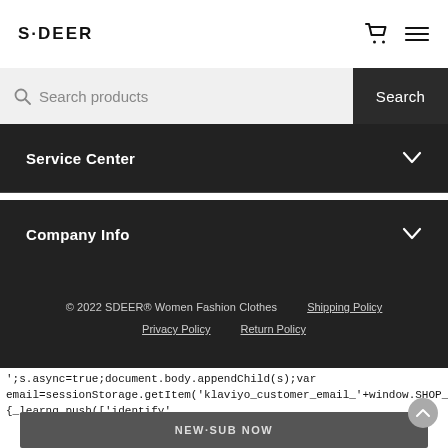S·DEER
Search products
Service Center
Company Info
© 2022 SDEER® Women Fashion Clothes   Shipping Policy   Privacy Policy   Return Policy
';s.async=true;document.body.appendChild(s);var email=sessionStorage.getItem('klaviyo_customer_email_'+window.SHOP_PARA {_learnq.push(['identify', {$email:email}]);return}_klaviyo_ajax({url:'/api/customers/show',success:function {if( {$e cc
NEW·SUB NOW